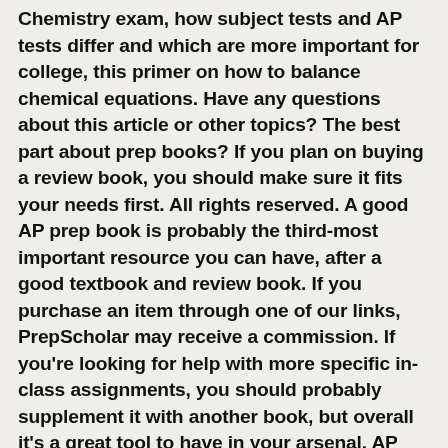Chemistry exam, how subject tests and AP tests differ and which are more important for college, this primer on how to balance chemical equations. Have any questions about this article or other topics? The best part about prep books? If you plan on buying a review book, you should make sure it fits your needs first. All rights reserved. A good AP prep book is probably the third-most important resource you can have, after a good textbook and review book. If you purchase an item through one of our links, PrepScholar may receive a commission. If you're looking for help with more specific in-class assignments, you should probably supplement it with another book, but overall it's a great tool to have in your arsenal. AP Chemistry Prep, 2021, previously titled Cracking the AP Chemistry Exam, provides students with thorough subject reviews of all relevant topics, including atomic structure, thermodynamics, the periodic table, fundamental laws, organic chemistry, molecular binding, and key equations, laws, and formulas. Crash Course is better if you have less time to prepare and want a quicker review of everything you need to know. The first three AP Chemistry books are your best bets for a comprehensive and effective review of the course material. Ask below and we'll reply! It's not the